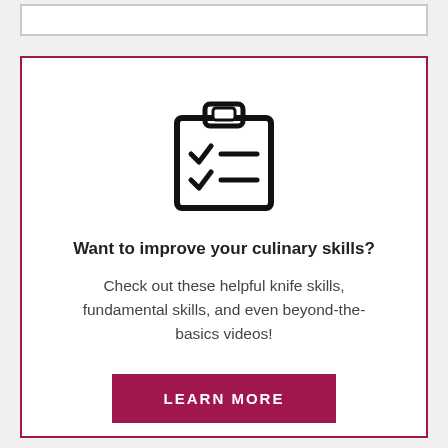[Figure (illustration): Clipboard icon with checkmarks and lines, indicating a checklist or task list.]
Want to improve your culinary skills?
Check out these helpful knife skills, fundamental skills, and even beyond-the-basics videos!
LEARN MORE